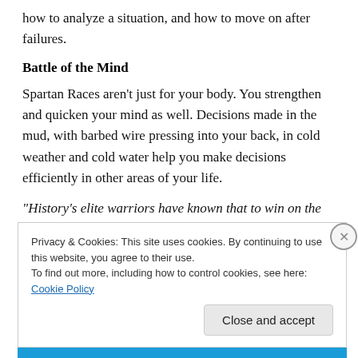how to analyze a situation, and how to move on after failures.
Battle of the Mind
Spartan Races aren't just for your body. You strengthen and quicken your mind as well. Decisions made in the mud, with barbed wire pressing into your back, in cold weather and cold water help you make decisions efficiently in other areas of your life.
“History’s elite warriors have known that to win on the real
Privacy & Cookies: This site uses cookies. By continuing to use this website, you agree to their use.
To find out more, including how to control cookies, see here: Cookie Policy
Close and accept